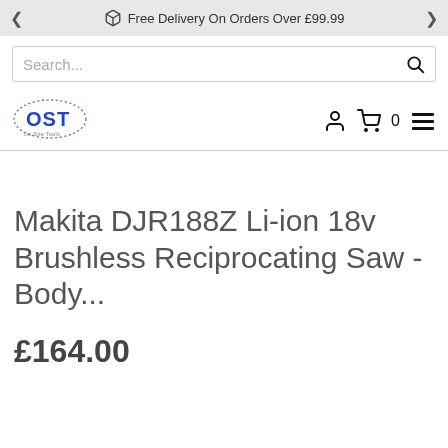Free Delivery On Orders Over £99.99
[Figure (screenshot): Search bar input field with placeholder text 'Search...' and a magnifying glass icon on the right]
[Figure (logo): OST (On Site Tools) logo with blue letters and dotted oval outline]
Makita DJR188Z Li-ion 18v Brushless Reciprocating Saw - Body...
£164.00